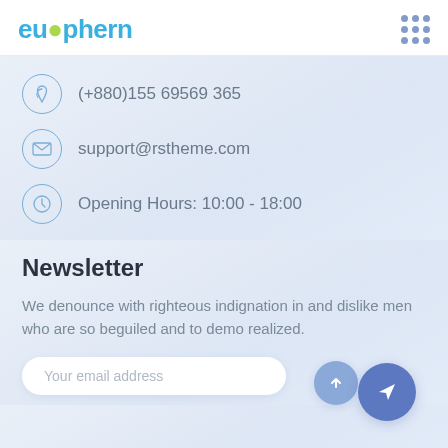[Figure (logo): Euphern logo in blue/teal with a green dot accent]
[Figure (other): 3x3 grid of dark blue dots (hamburger/menu icon)]
(+880)155 69569 365
support@rstheme.com
Opening Hours: 10:00 - 18:00
Newsletter
We denounce with righteous indignation in and dislike men who are so beguiled and to demo realized.
Your email address